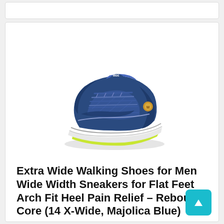[Figure (photo): A blue athletic walking sneaker with white sole, gold accents, and neon yellow midsole detail, viewed at an angle from the side.]
Extra Wide Walking Shoes for Men Wide Width Sneakers for Flat Feet Arch Fit Heel Pain Relief – Rebound Core (14 X-Wide, Majolica Blue)